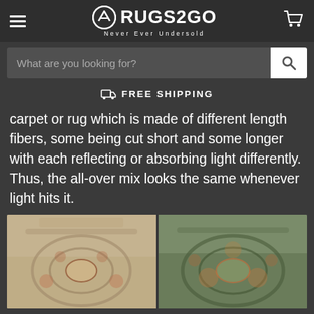RUGS2GO — Never Ever Undersold
What are you looking for?
FREE SHIPPING
carpet or rug which is made of different length fibers, some being cut short and some longer with each reflecting or absorbing light differently. Thus, the all-over mix looks the same whenever light hits it.
[Figure (photo): Two oriental/Persian style rugs displayed on a light wood floor, side by side. Left rug has a beige/cream medallion design, right rug has a darker teal/green floral medallion design.]